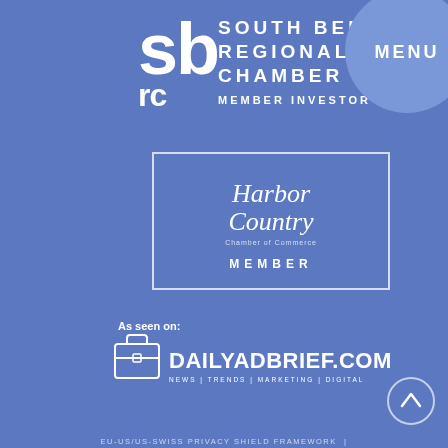[Figure (logo): South Bend Regional Chamber Member Investor logo — white text and letters on blue background]
[Figure (logo): MENU button in white circle on blue background]
[Figure (logo): Harbor Country Chamber of Commerce Member logo — white text in a white-bordered rectangle]
As seen on:
[Figure (logo): DailyAdBrief.com logo with briefcase icon — NEWS | TRENDS | MARKETING | DIGITAL tagline]
[Figure (other): Scroll-to-top circle arrow button]
EU-US/US-SWISS PRIVACY SHIELD FRAMEWORK |